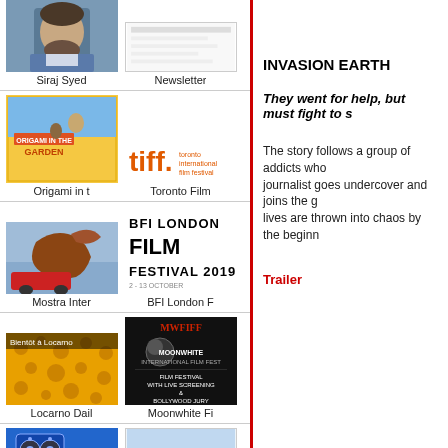[Figure (photo): Siraj Syed portrait photo]
Siraj Syed
[Figure (photo): Newsletter cover image]
Newsletter
[Figure (photo): Origami in the Garden film poster]
Origami in t
[Figure (logo): TIFF Toronto International Film Festival logo]
Toronto Film
[Figure (photo): Mostra Inter festival image - lion statue]
Mostra Inter
[Figure (logo): BFI London Film Festival 2019 logo]
BFI London F
[Figure (photo): Locarno Daily leopard pattern festival image]
Locarno Dail
[Figure (logo): MWFIFF Moonwhite International Film Fest logo]
Moonwhite Fi
[Figure (photo): Film reel icon on blue background]
[Figure (photo): Donostia festival landscape image]
INVASION EARTH
They went for help, but must fight to s
The story follows a group of addicts who journalist goes undercover and joins the g lives are thrown into chaos by the beginn
Trailer